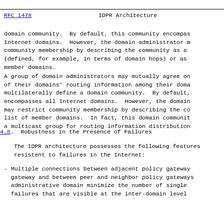RFC 1478    IDPR Architecture
domain community.  By default, this community encompas Internet domains.  However, the domain administrator community membership by describing the community as (defined, for example, in terms of domain hops) or a member domains.
A group of domain administrators may mutually agree o of their domains' routing information among their dom multilaterally define a domain community.  By default encompasses all Internet domains.  However, the domai may restrict community membership by describing the c list of member domains.  In fact, this domain commun a multicast group for routing information distributio
4.5.  Robustness in the Presence of Failures
The IDPR architecture possesses the following feature resistent to failures in the Internet:
- Multiple connections between adjacent policy gatewa gateway and between peer and neighbor policy gateway administrative domain minimize the number of single failures that are visible at the inter-domain level